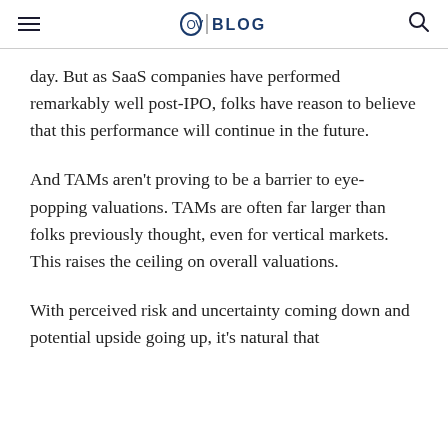OV | BLOG
day. But as SaaS companies have performed remarkably well post-IPO, folks have reason to believe that this performance will continue in the future.
And TAMs aren’t proving to be a barrier to eye-popping valuations. TAMs are often far larger than folks previously thought, even for vertical markets. This raises the ceiling on overall valuations.
With perceived risk and uncertainty coming down and potential upside going up, it’s natural that